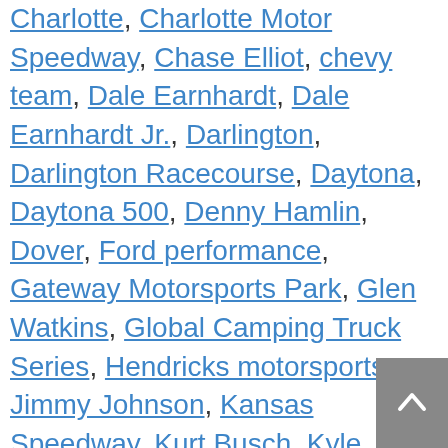Charlotte, Charlotte Motor Speedway, Chase Elliot, chevy team, Dale Earnhardt, Dale Earnhardt Jr., Darlington, Darlington Racecourse, Daytona, Daytona 500, Denny Hamlin, Dover, Ford performance, Gateway Motorsports Park, Glen Watkins, Global Camping Truck Series, Hendricks motorsports, Jimmy Johnson, Kansas Speedway, Kurt Busch, Kyle Bush, Las Vegas Motor Speedway, Martinsville, Michael Waltrip Racing, Monster Cup, Monster Energy series, NASCAR, NASCAR Cup Series, NASCAR drivers, NASCAR Energy Monster Cup Series, NASCAR frequencies, NASCAR live, NASCAR News, NASCAR points, NASCAR